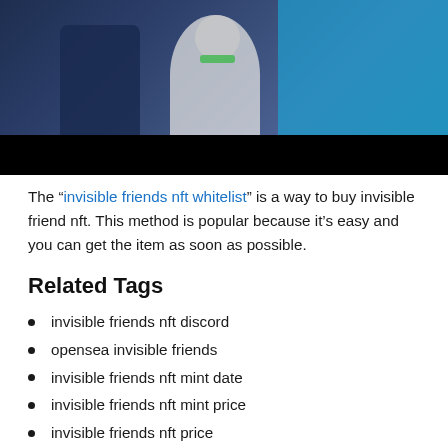[Figure (illustration): Animated/cartoon image of characters in dark blue outfits with a robot figure in the center, alongside a person in a bright blue shirt, with a black bar at the bottom of the image]
The “invisible friends nft whitelist” is a way to buy invisible friend nft. This method is popular because it’s easy and you can get the item as soon as possible.
Related Tags
invisible friends nft discord
opensea invisible friends
invisible friends nft mint date
invisible friends nft mint price
invisible friends nft price